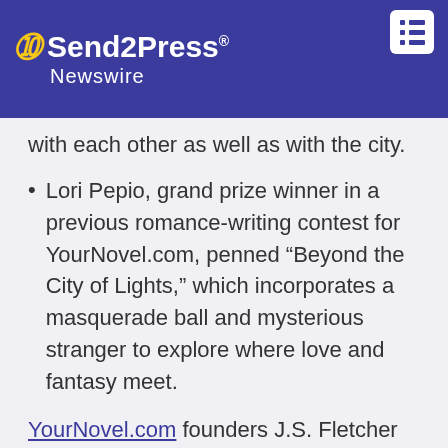Send2Press Newswire
with each other as well as with the city.
Lori Pepio, grand prize winner in a previous romance-writing contest for YourNovel.com, penned “Beyond the City of Lights,” which incorporates a masquerade ball and mysterious stranger to explore where love and fantasy meet.
YourNovel.com founders J.S. Fletcher and Kathy M. Newbern, who write as Fletcher Newbern, note that part of the fun of their nearly three decades in business has been